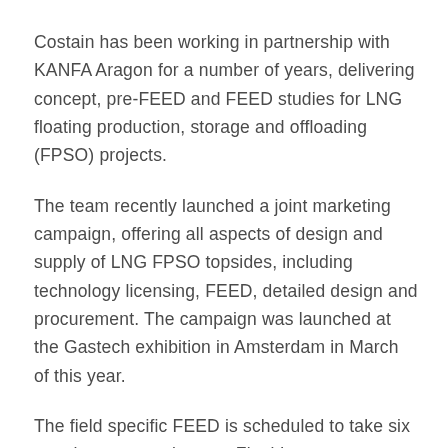Costain has been working in partnership with KANFA Aragon for a number of years, delivering concept, pre-FEED and FEED studies for LNG floating production, storage and offloading (FPSO) projects.
The team recently launched a joint marketing campaign, offering all aspects of design and supply of LNG FPSO topsides, including technology licensing, FEED, detailed design and procurement. The campaign was launched at the Gastech exhibition in Amsterdam in March of this year.
The field specific FEED is scheduled to take six months, progressing to a Final Investment Decision. The study will develop the generic FEED work